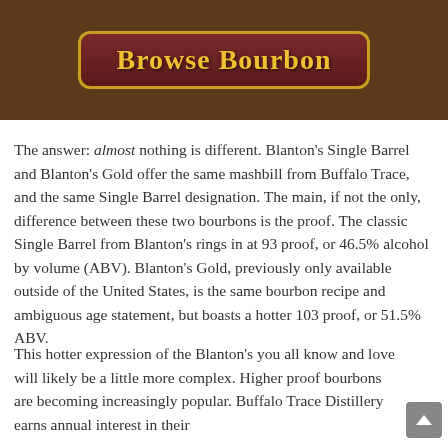[Figure (photo): Banner image showing 'Browse Bourbon' text in gold on a dark red rounded rectangle, set against a dark brown background with partial bottle imagery visible.]
The answer: almost nothing is different. Blanton's Single Barrel and Blanton's Gold offer the same mashbill from Buffalo Trace, and the same Single Barrel designation. The main, if not the only, difference between these two bourbons is the proof. The classic Single Barrel from Blanton's rings in at 93 proof, or 46.5% alcohol by volume (ABV). Blanton's Gold, previously only available outside of the United States, is the same bourbon recipe and ambiguous age statement, but boasts a hotter 103 proof, or 51.5% ABV.
This hotter expression of the Blanton's you all know and love will likely be a little more complex. Higher proof bourbons are becoming increasingly popular. Buffalo Trace Distillery earns annual interest in their